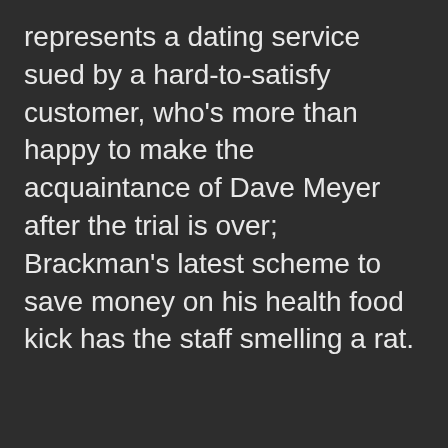represents a dating service sued by a hard-to-satisfy customer, who's more than happy to make the acquaintance of Dave Meyer after the trial is over; Brackman's latest scheme to save money on his health food kick has the staff smelling a rat.